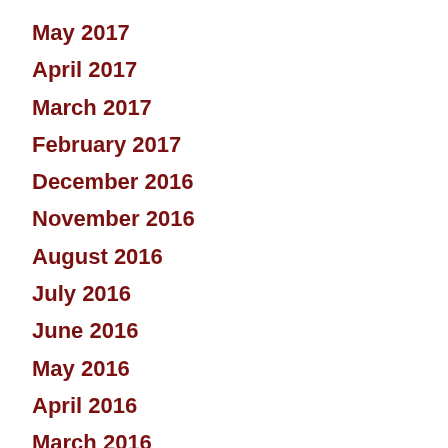May 2017
April 2017
March 2017
February 2017
December 2016
November 2016
August 2016
July 2016
June 2016
May 2016
April 2016
March 2016
February 2016
December 2015